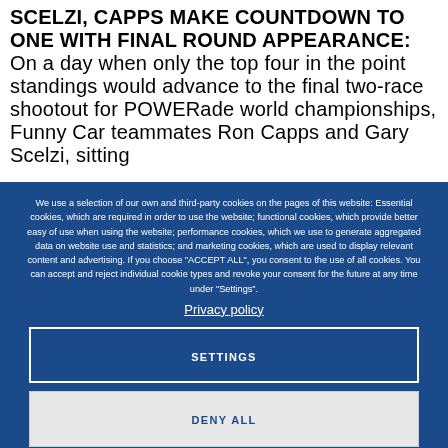SCELZI, CAPPS MAKE COUNTDOWN TO ONE WITH FINAL ROUND APPEARANCE: On a day when only the top four in the point standings would advance to the final two-race shootout for POWERade world championships, Funny Car teammates Ron Capps and Gary Scelzi, sitting
We use a selection of our own and third-party cookies on the pages of this website: Essential cookies, which are required in order to use the website; functional cookies, which provide better easy of use when using the website; performance cookies, which we use to generate aggregated data on website use and statistics; and marketing cookies, which are used to display relevant content and advertising. If you choose "ACCEPT ALL", you consent to the use of all cookies. You can accept and reject individual cookie types and revoke your consent for the future at any time under "Settings".
Privacy policy
SETTINGS
DENY ALL
ACCEPT ALL